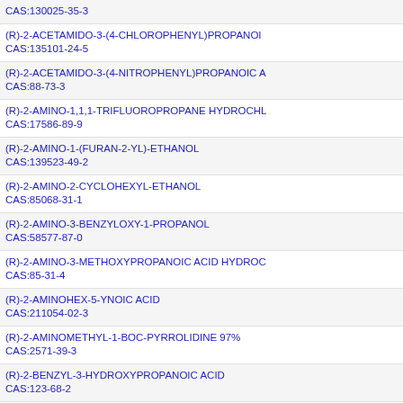CAS:130025-35-3
(R)-2-ACETAMIDO-3-(4-CHLOROPHENYL)PROPANOIC
CAS:135101-24-5
(R)-2-ACETAMIDO-3-(4-NITROPHENYL)PROPANOIC A
CAS:88-73-3
(R)-2-AMINO-1,1,1-TRIFLUOROPROPANE HYDROCHL
CAS:17586-89-9
(R)-2-AMINO-1-(FURAN-2-YL)-ETHANOL
CAS:139523-49-2
(R)-2-AMINO-2-CYCLOHEXYL-ETHANOL
CAS:85068-31-1
(R)-2-AMINO-3-BENZYLOXY-1-PROPANOL
CAS:58577-87-0
(R)-2-AMINO-3-METHOXYPROPANOIC ACID HYDROC
CAS:85-31-4
(R)-2-AMINOHEX-5-YNOIC ACID
CAS:211054-02-3
(R)-2-AMINOMETHYL-1-BOC-PYRROLIDINE 97%
CAS:2571-39-3
(R)-2-BENZYL-3-HYDROXYPROPANOIC ACID
CAS:123-68-2
(R)-2-BENZYLOXYMETHYL-1-BOC-PIPERAZINE 97%
CAS:73573-88-3
(R)-2-BROMOBUTANOIC ACID
(R)-2-CHLORO-1-(4-FLUOROPHENYL)ETHANOL
CAS:126424-85-9
(R)-2-CHLORO-1-(4-METHOXYPHENYL) ETHANOL